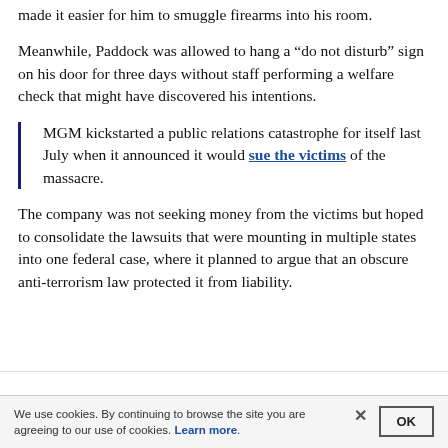made it easier for him to smuggle firearms into his room.
Meanwhile, Paddock was allowed to hang a “do not disturb” sign on his door for three days without staff performing a welfare check that might have discovered his intentions.
MGM kickstarted a public relations catastrophe for itself last July when it announced it would sue the victims of the massacre.
The company was not seeking money from the victims but hoped to consolidate the lawsuits that were mounting in multiple states into one federal case, where it planned to argue that an obscure anti-terrorism law protected it from liability.
We use cookies. By continuing to browse the site you are agreeing to our use of cookies. Learn more.